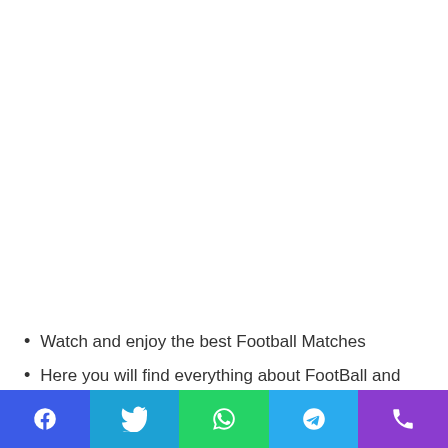Watch and enjoy the best Football Matches
Here you will find everything about FootBall and